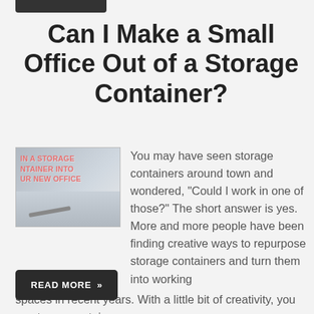Can I Make a Small Office Out of a Storage Container?
[Figure (photo): Thumbnail image of a laptop on a desk with text overlay reading 'IN A STORAGE CONTAINER INTO YOUR NEW OFFICE' in red, representing a storage container office article.]
You may have seen storage containers around town and wondered, “Could I work in one of those?” The short answer is yes. More and more people have been finding creative ways to repurpose storage containers and turn them into working spaces in recent years. With a little bit of creativity, you can turn a container…
READ MORE »